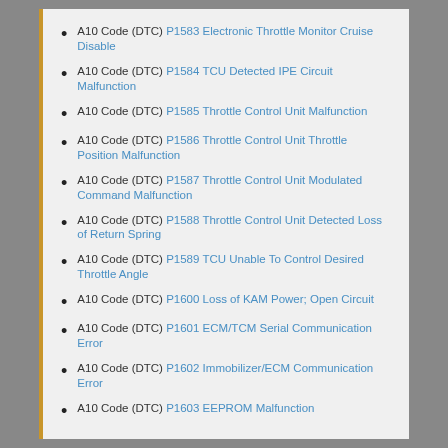A10 Code (DTC) P1583 Electronic Throttle Monitor Cruise Disable
A10 Code (DTC) P1584 TCU Detected IPE Circuit Malfunction
A10 Code (DTC) P1585 Throttle Control Unit Malfunction
A10 Code (DTC) P1586 Throttle Control Unit Throttle Position Malfunction
A10 Code (DTC) P1587 Throttle Control Unit Modulated Command Malfunction
A10 Code (DTC) P1588 Throttle Control Unit Detected Loss of Return Spring
A10 Code (DTC) P1589 TCU Unable To Control Desired Throttle Angle
A10 Code (DTC) P1600 Loss of KAM Power; Open Circuit
A10 Code (DTC) P1601 ECM/TCM Serial Communication Error
A10 Code (DTC) P1602 Immobilizer/ECM Communication Error
A10 Code (DTC) P1603 EEPROM Malfunction